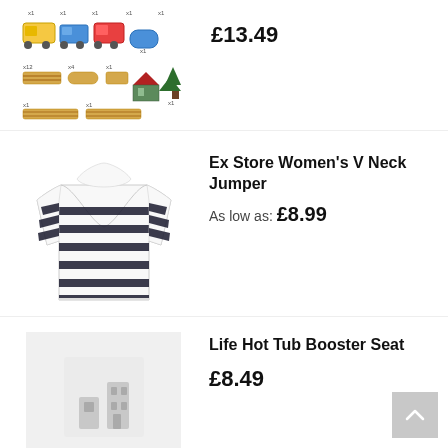£13.49
Ex Store Women's V Neck Jumper
As low as: £8.99
Life Hot Tub Booster Seat
£8.49